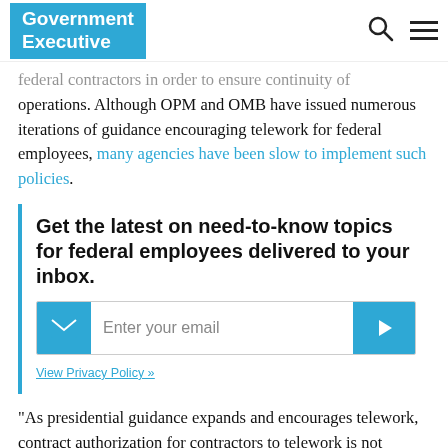Government Executive
federal contractors in order to ensure continuity of operations. Although OPM and OMB have issued numerous iterations of guidance encouraging telework for federal employees, many agencies have been slow to implement such policies.
Get the latest on need-to-know topics for federal employees delivered to your inbox.
Enter your email
View Privacy Policy »
“As presidential guidance expands and encourages telework, contract authorization for contractors to telework is not automatic,” PSC President and CEO David Berteau